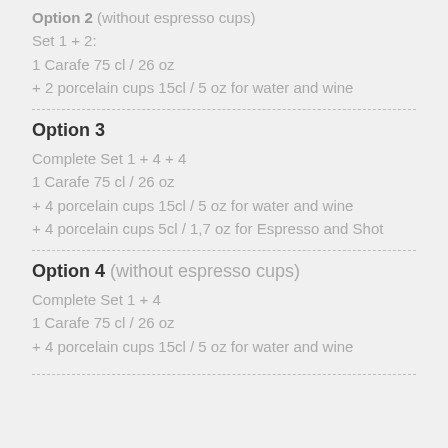Option 2 (without espresso cups)
Set 1 + 2:
1 Carafe 75 cl / 26 oz
+ 2 porcelain cups 15cl / 5 oz for water and wine
Option 3
Complete Set 1 + 4 + 4
1 Carafe 75 cl / 26 oz
+ 4 porcelain cups 15cl / 5 oz for water and wine
+ 4 porcelain cups 5cl / 1,7 oz for Espresso and Shot
Option 4 (without espresso cups)
Complete Set 1 + 4
1 Carafe 75 cl / 26 oz
+ 4 porcelain cups 15cl / 5 oz for water and wine